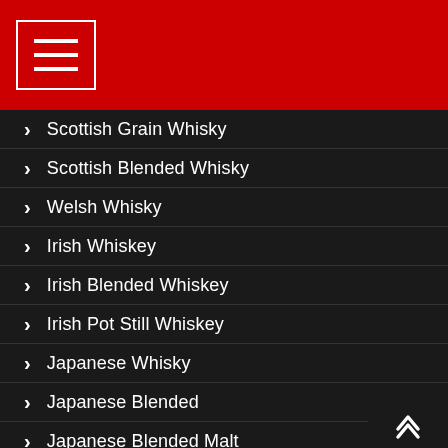Navigation menu
Scottish Grain Whisky
Scottish Blended Whisky
Welsh Whisky
Irish Whiskey
Irish Blended Whiskey
Irish Pot Still Whiskey
Japanese Whisky
Japanese Blended
Japanese Blended Malt
Swedish Whisky
American Whiskey
American Bourbon
Tennessee Whisky